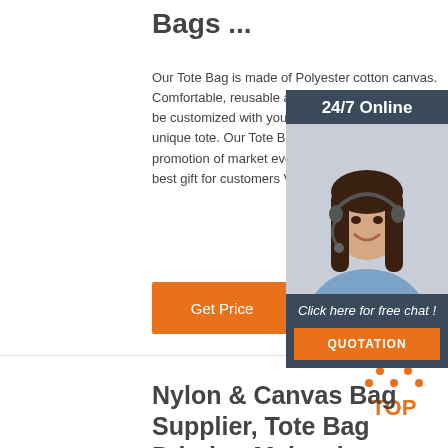Bags ...
Our Tote Bag is made of Polyester cotton canvas. Comfortable, reusable and durable! Our Tote Bag can be customized with your photos to design your own unique tote. Our Tote Bag is the ideal gift for promotion of market events, meetings and also the best gift for customers VIP.
[Figure (illustration): Customer service representative with headset, 24/7 Online chat widget with dark blue background, photo of woman, and QUOTATION orange button]
Get Price
[Figure (logo): TOP badge with orange dots forming a triangle above the text TOP in orange letters]
Nylon & Canvas Bag Supplier, Tote Bag Printing Malaysia